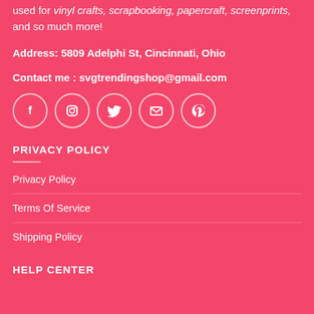used for vinyl crafts, scrapbooking, papercraft, screenprints, and so much more!
Address: 5809 Adelphi St, Cincinnati, Ohio
Contact me : svgtrendingshop@gmail.com
[Figure (infographic): Five social media icon circles in a row: Facebook, Instagram, Twitter, Email, Pinterest]
PRIVACY POLICY
Privacy Policy
Terms Of Service
Shipping Policy
HELP CENTER